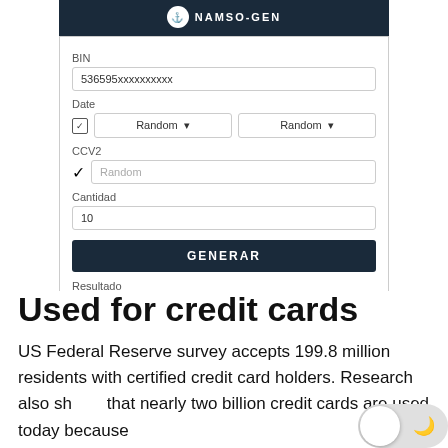[Figure (screenshot): Screenshot of NAMSO-GEN credit card BIN generator app showing form fields for BIN (536595xxxxxxxxxx), Date (Random/Random), CCV2 (Random), Cantidad (10), a GENERAR button, and Resultado section with generated card numbers]
Used for credit cards
US Federal Reserve survey accepts 199.8 million residents with certified credit card holders. Research also shows that nearly two billion credit cards are used today because